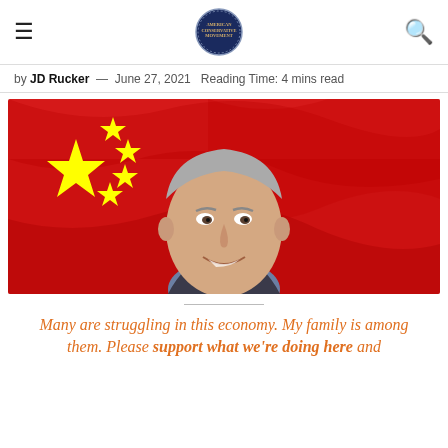American Conservative Movement — hamburger menu, logo, search icon
by JD Rucker — June 27, 2021  Reading Time: 4 mins read
[Figure (photo): A smiling middle-aged man with gray hair in a suit, superimposed over a large Chinese flag (red background with yellow stars).]
Many are struggling in this economy. My family is among them. Please support what we're doing here and